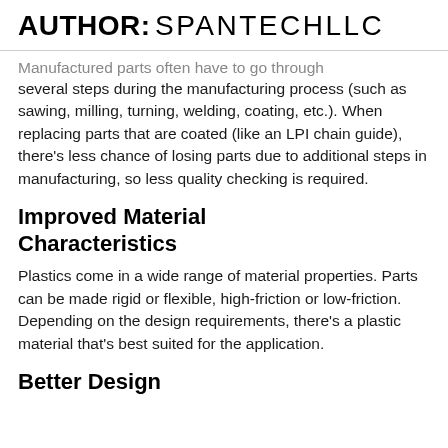AUTHOR: SPANTECHLLC
Manufactured parts often have to go through several steps during the manufacturing process (such as sawing, milling, turning, welding, coating, etc.). When replacing parts that are coated (like an LPI chain guide), there’s less chance of losing parts due to additional steps in manufacturing, so less quality checking is required.
Improved Material Characteristics
Plastics come in a wide range of material properties. Parts can be made rigid or flexible, high-friction or low-friction. Depending on the design requirements, there’s a plastic material that’s best suited for the application.
Better Design